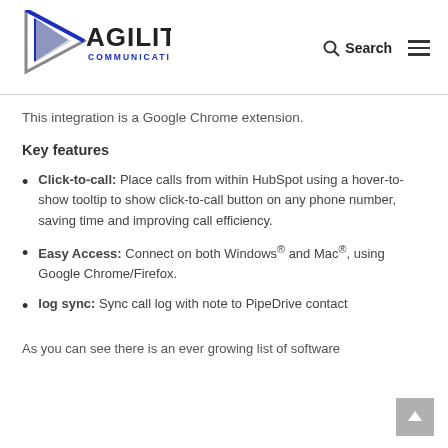[Figure (logo): Agility Communications logo with blue and silver arrow/triangle graphic and stylized text]
This integration is a Google Chrome extension.
Key features
Click-to-call: Place calls from within HubSpot using a hover-to-show tooltip to show click-to-call button on any phone number, saving time and improving call efficiency.
Easy Access: Connect on both Windows® and Mac®, using Google Chrome/Firefox.
log sync: Sync call log with note to PipeDrive contact
As you can see there is an ever growing list of software